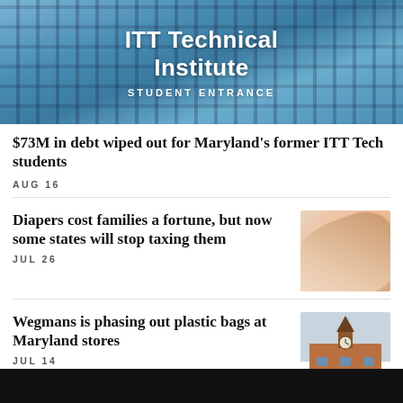[Figure (photo): ITT Technical Institute glass entrance with 'ITT Technical Institute' and 'STUDENT ENTRANCE' text visible on the glass doors, reflecting sky and trees]
$73M in debt wiped out for Maryland's former ITT Tech students
AUG 16
Diapers cost families a fortune, but now some states will stop taxing them
JUL 26
[Figure (photo): Close-up photo of diapers, showing white and red packaging material]
Wegmans is phasing out plastic bags at Maryland stores
JUL 14
[Figure (photo): Wegmans store exterior showing a brick building with a clock tower/spire]